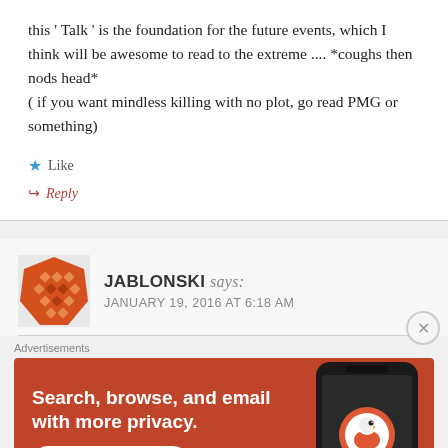this ' Talk ' is the foundation for the future events, which I think will be awesome to read to the extreme .... *coughs then nods head* ( if you want mindless killing with no plot, go read PMG or something)
★ Like
↪ Reply
JABLONSKI says: JANUARY 19, 2016 AT 6:18 AM
[Figure (logo): Orange geometric avatar/logo with diamond shapes arranged in a grid pattern]
Advertisements
[Figure (screenshot): DuckDuckGo advertisement banner: orange background with white text 'Search, browse, and email with more privacy.' and 'All in One Free App' button, with a phone showing DuckDuckGo logo on the right]